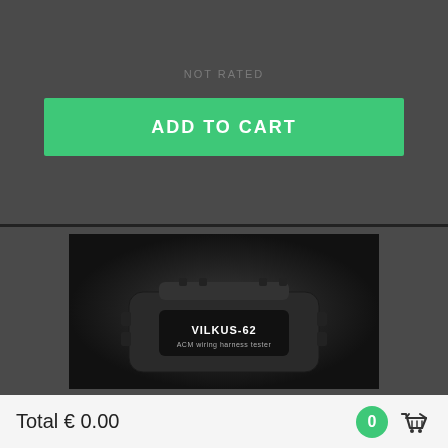NOT RATED
ADD TO CART
[Figure (photo): VILKUS-62 ACM wiring harness tester device, a small black rectangular electronic device with a label reading 'VILKUS-62 ACM wiring harness tester', photographed against a dark background.]
Total € 0.00
0